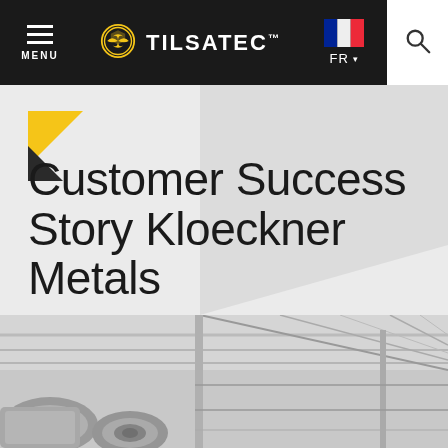MENU | TILSATEC | FR
Customer Success Story Kloeckner Metals
[Figure (photo): Industrial warehouse interior showing rolls of metal wire/cable stacked on shelving with steel roof structure visible overhead]